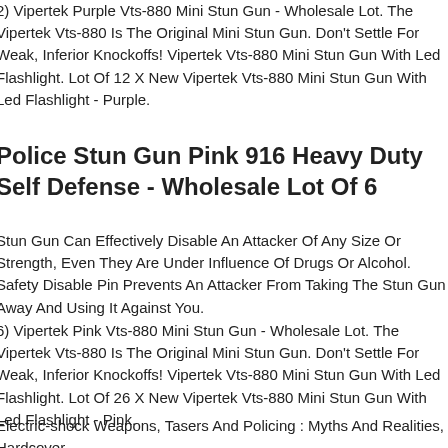2) Vipertek Purple Vts-880 Mini Stun Gun - Wholesale Lot. The Vipertek Vts-880 Is The Original Mini Stun Gun. Don't Settle For Weak, Inferior Knockoffs! Vipertek Vts-880 Mini Stun Gun With Led Flashlight. Lot Of 12 X New Vipertek Vts-880 Mini Stun Gun With Led Flashlight - Purple.
Police Stun Gun Pink 916 Heavy Duty Self Defense - Wholesale Lot Of 6
Stun Gun Can Effectively Disable An Attacker Of Any Size Or Strength, Even They Are Under Influence Of Drugs Or Alcohol. Safety Disable Pin Prevents An Attacker From Taking The Stun Gun Away And Using It Against You.
6) Vipertek Pink Vts-880 Mini Stun Gun - Wholesale Lot. The Vipertek Vts-880 Is The Original Mini Stun Gun. Don't Settle For Weak, Inferior Knockoffs! Vipertek Vts-880 Mini Stun Gun With Led Flashlight. Lot Of 26 X New Vipertek Vts-880 Mini Stun Gun With Led Flashlight - Pink.
Electric-shock Weapons, Tasers And Policing : Myths And Realities, Hardcover ....